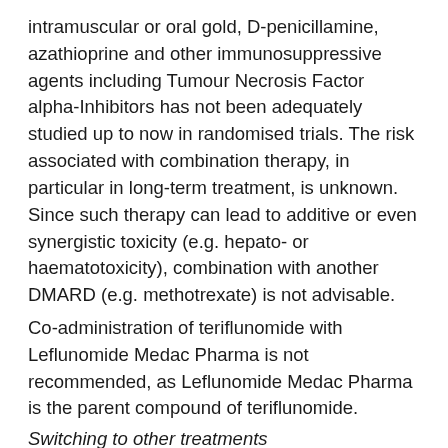intramuscular or oral gold, D-penicillamine, azathioprine and other immunosuppressive agents including Tumour Necrosis Factor alpha-Inhibitors has not been adequately studied up to now in randomised trials. The risk associated with combination therapy, in particular in long-term treatment, is unknown. Since such therapy can lead to additive or even synergistic toxicity (e.g. hepato- or haematotoxicity), combination with another DMARD (e.g. methotrexate) is not advisable.
Co-administration of teriflunomide with Leflunomide Medac Pharma is not recommended, as Leflunomide Medac Pharma is the parent compound of teriflunomide.
Switching to other treatments